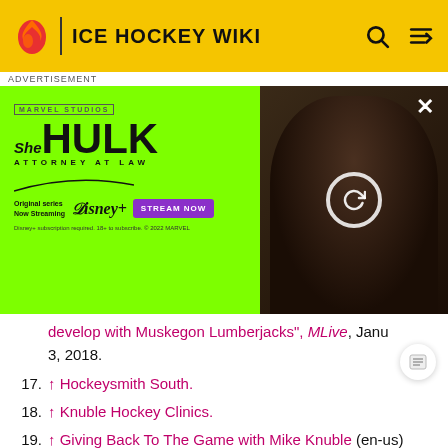ICE HOCKEY WIKI
[Figure (screenshot): She-Hulk Attorney at Law advertisement on green background with actress photo and Stream Now button]
develop with Muskegon Lumberjacks", MLive, January 3, 2018.
17. ↑ Hockeysmith South.
18. ↑ Knuble Hockey Clinics.
19. ↑ Giving Back To The Game with Mike Knuble (en-us) (March 11, 2015). "Living in Grand Rapids, Michigan, with his wife and three kids"
External links